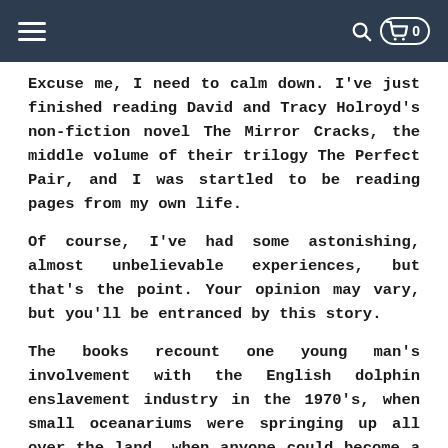Navigation bar with hamburger menu, search icon, cart icon with 0 items
Excuse me, I need to calm down. I've just finished reading David and Tracy Holroyd's non-fiction novel The Mirror Cracks, the middle volume of their trilogy The Perfect Pair, and I was startled to be reading pages from my own life.
Of course, I've had some astonishing, almost unbelievable experiences, but that's the point. Your opinion may vary, but you'll be entranced by this story.
The books recount one young man's involvement with the English dolphin enslavement industry in the 1970's, when small oceanariums were springing up all over the land, when anyone could become a dolphin trainer (and did), but before the U.S. Marine Mammal Protection Act made dolphin lives expensive, or public opinion in the U.K. made the sorry business illegal.
(Would my country showed such compassion, but with the current administration I'm not holding my breath. I'm a writer,